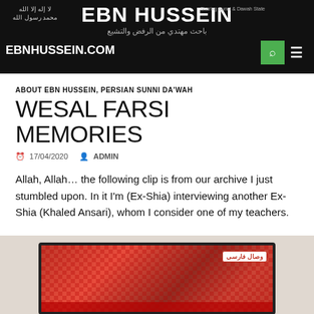EBN HUSSEIN | باحث مهتدي من الرفض والتشيع | EBNHUSSEIN.COM
ABOUT EBN HUSSEIN, PERSIAN SUNNI DA'WAH
WESAL FARSI MEMORIES
17/04/2020   ADMIN
Allah, Allah… the following clip is from our archive I just stumbled upon. In it I'm (Ex-Shia) interviewing another Ex-Shia (Khaled Ansari), whom I consider one of my teachers.
[Figure (photo): A TV screen showing a red patterned background with Arabic text/logo overlay, photographed against a light background]